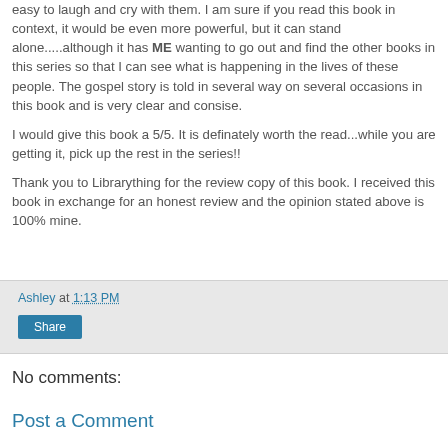easy to laugh and cry with them. I am sure if you read this book in context, it would be even more powerful, but it can stand alone.....although it has ME wanting to go out and find the other books in this series so that I can see what is happening in the lives of these people. The gospel story is told in several way on several occasions in this book and is very clear and consise.
I would give this book a 5/5. It is definately worth the read...while you are getting it, pick up the rest in the series!!

Thank you to Librarything for the review copy of this book. I received this book in exchange for an honest review and the opinion stated above is 100% mine.
Ashley at 1:13 PM
Share
No comments:
Post a Comment